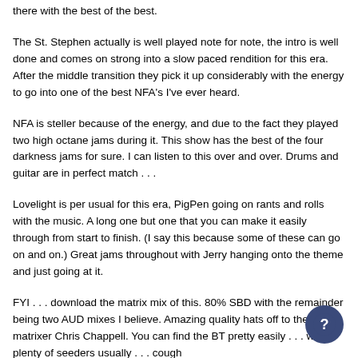there with the best of the best.
The St. Stephen actually is well played note for note, the intro is well done and comes on strong into a slow paced rendition for this era. After the middle transition they pick it up considerably with the energy to go into one of the best NFA's I've ever heard.
NFA is steller because of the energy, and due to the fact they played two high octane jams during it. This show has the best of the four darkness jams for sure. I can listen to this over and over. Drums and guitar are in perfect match . . .
Lovelight is per usual for this era, PigPen going on rants and rolls with the music. A long one but one that you can make it easily through from start to finish. (I say this because some of these can go on and on.) Great jams throughout with Jerry hanging onto the theme and just going at it.
FYI . . . download the matrix mix of this. 80% SBD with the remainder being two AUD mixes I believe. Amazing quality hats off to the matrixer Chris Chappell. You can find the BT pretty easily . . . with plenty of seeders usually . . . cough